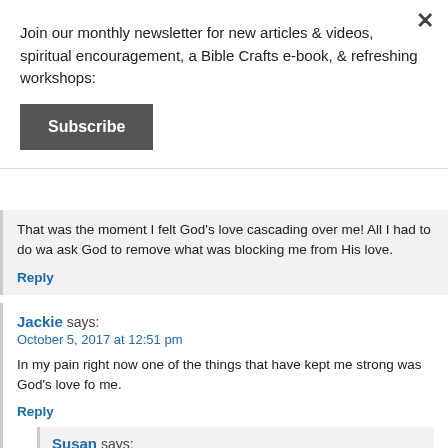Join our monthly newsletter for new articles & videos, spiritual encouragement, a Bible Crafts e-book, & refreshing workshops:
Subscribe
That was the moment I felt God’s love cascading over me! All I had to do was ask God to remove what was blocking me from His love.
Reply
Jackie says:
October 5, 2017 at 12:51 pm
In my pain right now one of the things that have kept me strong was God’s love for me.
Reply
Susan says:
October 5, 2017 at 3:47 pm
Isn’t His love wonderful? (sigh)
Reply